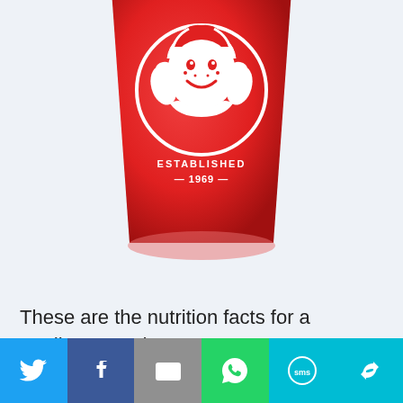[Figure (photo): Red Wendy's cup with the Wendy's girl logo and text 'ESTABLISHED — 1969 —' on the front, photographed against a light blue-grey background.]
These are the nutrition facts for a medium Wendy's Frosty:
[Figure (screenshot): Partial view of a table or content box at the bottom of the page.]
[Figure (infographic): Social sharing bar with buttons for Twitter, Facebook, Email, WhatsApp, SMS, and a share/other option.]